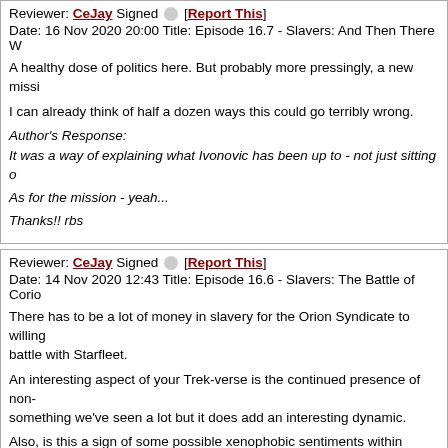Reviewer: CeJay Signed [Report This]
Date: 16 Nov 2020 20:00 Title: Episode 16.7 - Slavers: And Then There W...

A healthy dose of politics here. But probably more pressingly, a new missi...

I can already think of half a dozen ways this could go terribly wrong.

Author's Response:

It was a way of explaining what Ivonovic has been up to - not just sitting o...

As for the mission - yeah...

Thanks!! rbs
Reviewer: CeJay Signed [Report This]
Date: 14 Nov 2020 12:43 Title: Episode 16.6 - Slavers: The Battle of Corio...

There has to be a lot of money in slavery for the Orion Syndicate to willing... battle with Starfleet.

An interesting aspect of your Trek-verse is the continued presence of non-... something we've seen a lot but it does add an interesting dynamic.

Also, is this a sign of some possible xenophobic sentiments within Starflee... Starfleet or, for that matter, that they had any form of proper government. ...

Author's Response:

The orions aren't the only ones walking into a trap...

You put your finger on one of the main themes in STH.